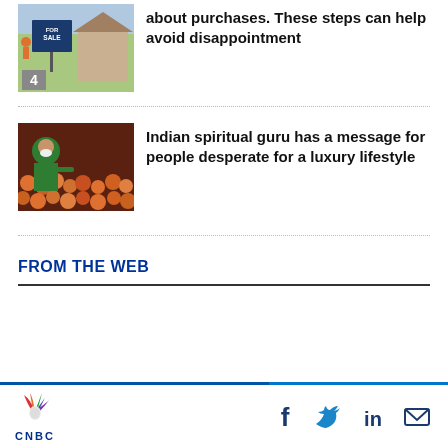[Figure (photo): Photo of a For Sale sign in front of a house, with number 4 badge overlay]
about purchases. These steps can help avoid disappointment
[Figure (photo): Photo of an Indian spiritual guru in green addressing a large crowd]
Indian spiritual guru has a message for people desperate for a luxury lifestyle
FROM THE WEB
CNBC logo with social media icons: Facebook, Twitter, LinkedIn, Email